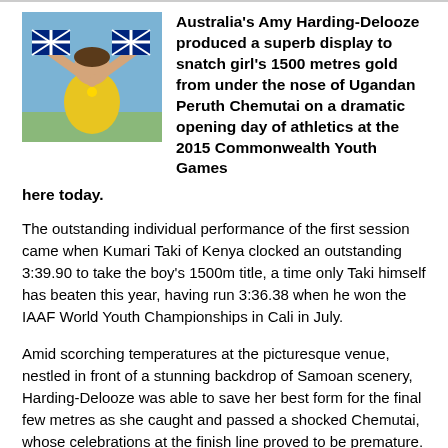[Figure (photo): Photo of Amy Harding-Delooze holding an Australian flag above her head, wearing a yellow uniform, celebrating outdoors.]
Australia's Amy Harding-Delooze produced a superb display to snatch girl's 1500 metres gold from under the nose of Ugandan Peruth Chemutai on a dramatic opening day of athletics at the 2015 Commonwealth Youth Games here today.
The outstanding individual performance of the first session came when Kumari Taki of Kenya clocked an outstanding 3:39.90 to take the boy's 1500m title, a time only Taki himself has beaten this year, having run 3:36.38 when he won the IAAF World Youth Championships in Cali in July.
Amid scorching temperatures at the picturesque venue, nestled in front of a stunning backdrop of Samoan scenery, Harding-Delooze was able to save her best form for the final few metres as she caught and passed a shocked Chemutai, whose celebrations at the finish line proved to be premature.
The 17-year-old Australian clocked 4min 18.02sec, with an embarrassed Chemutai having to settle for silver, while fellow Ugandan Janet Chemusta comfortably took bronze.